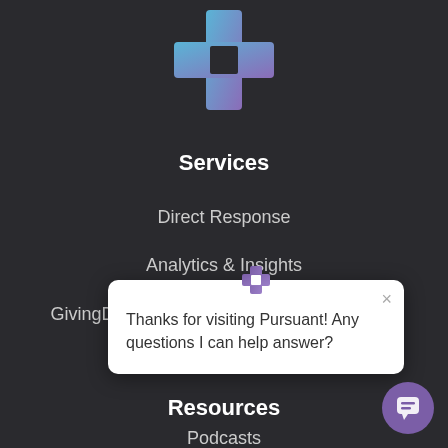[Figure (logo): Pursuant company logo — blue/purple cross-shaped plus icon at top center of dark background]
Services
Direct Response
Analytics & Insights
GivingDNA Platform
[Figure (screenshot): Chat popup widget with Pursuant logo icon, close X button, and text: Thanks for visiting Pursuant! Any questions I can help answer?]
Resources
Podcasts
[Figure (illustration): Purple circular chat button in bottom right corner with speech bubble icon]